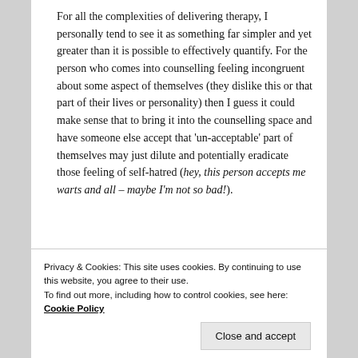For all the complexities of delivering therapy, I personally tend to see it as something far simpler and yet greater than it is possible to effectively quantify. For the person who comes into counselling feeling incongruent about some aspect of themselves (they dislike this or that part of their lives or personality) then I guess it could make sense that to bring it into the counselling space and have someone else accept that 'un-acceptable' part of themselves may just dilute and potentially eradicate those feeling of self-hatred (hey, this person accepts me warts and all – maybe I'm not so bad!).
Self worth
If you consider for a moment that everything we do is
Privacy & Cookies: This site uses cookies. By continuing to use this website, you agree to their use.
To find out more, including how to control cookies, see here: Cookie Policy